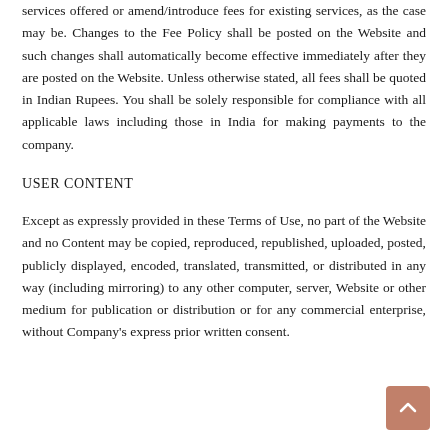services offered or amend/introduce fees for existing services, as the case may be. Changes to the Fee Policy shall be posted on the Website and such changes shall automatically become effective immediately after they are posted on the Website. Unless otherwise stated, all fees shall be quoted in Indian Rupees. You shall be solely responsible for compliance with all applicable laws including those in India for making payments to the company.
USER CONTENT
Except as expressly provided in these Terms of Use, no part of the Website and no Content may be copied, reproduced, republished, uploaded, posted, publicly displayed, encoded, translated, transmitted, or distributed in any way (including mirroring) to any other computer, server, Website or other medium for publication or distribution or for any commercial enterprise, without Company's express prior written consent.